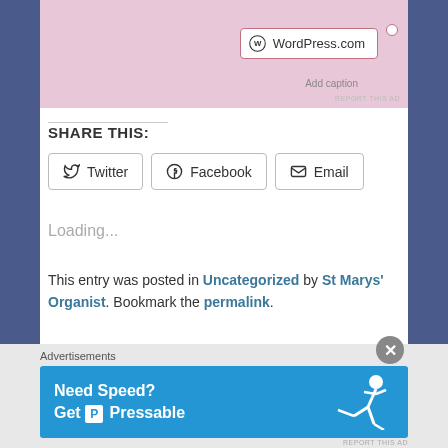[Figure (screenshot): WordPress.com ad banner with pink background showing WordPress.com logo in a rounded rectangle with 'Add caption' text below]
REPORT THIS AD
SHARE THIS:
Twitter  Facebook  Email (share buttons)
Loading...
This entry was posted in Uncategorized by St Marys' Organist. Bookmark the permalink.
1 THOUGHT ON "SINGING THE LORD'S SONG… IN A STRANGE LAND."
Advertisements
[Figure (infographic): Pressable advertisement banner: Need Speed? Get Pressable, blue background with running figure]